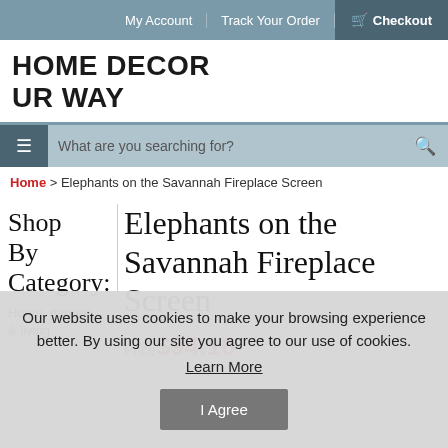My Account | Track Your Order | Checkout
HOME DECOR UR WAY
What are you searching for?
Home > Elephants on the Savannah Fireplace Screen
Shop By Category
Elephants on the Savannah Fireplace Screen
Home, garden & living
Price $94.16
Our website uses cookies to make your browsing experience better. By using our site you agree to our use of cookies.
Learn More
I Agree